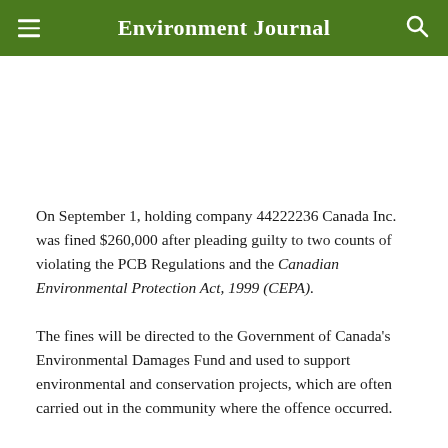Environment Journal
On September 1, holding company 44222236 Canada Inc. was fined $260,000 after pleading guilty to two counts of violating the PCB Regulations and the Canadian Environmental Protection Act, 1999 (CEPA).
The fines will be directed to the Government of Canada's Environmental Damages Fund and used to support environmental and conservation projects, which are often carried out in the community where the offence occurred.
An investigation conducted by Environment and Climate